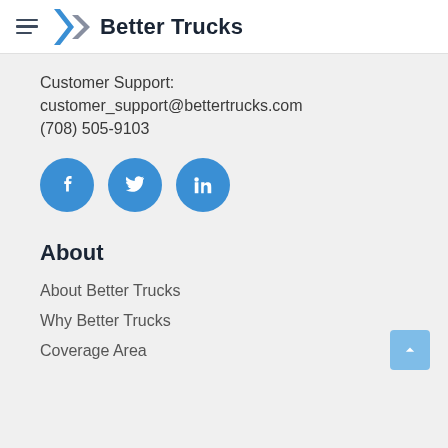Better Trucks
Customer Support:
customer_support@bettertrucks.com
(708) 505-9103
[Figure (other): Social media icons: Facebook, Twitter, LinkedIn]
About
About Better Trucks
Why Better Trucks
Coverage Area